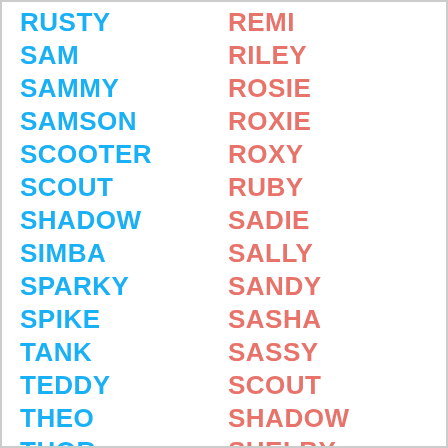RUSTY
SAM
SAMMY
SAMSON
SCOOTER
SCOUT
SHADOW
SIMBA
SPARKY
SPIKE
TANK
TEDDY
THEO
THOR
TOBY
TUCKER
TYSON
REMI
RILEY
ROSIE
ROXIE
ROXY
RUBY
SADIE
SALLY
SANDY
SASHA
SASSY
SCOUT
SHADOW
SHELBY
SIERRA
SKYE
SOPHIE